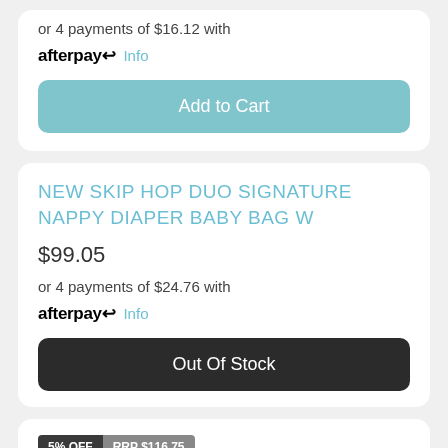or 4 payments of $16.12 with afterpay Info
Add to Cart
NEW SKIP HOP DUO SIGNATURE NAPPY DIAPER BABY BAG W
$99.05
or 4 payments of $24.76 with afterpay Info
Out Of Stock
5% OFF  RRP $116.75
Skip Hop Zoo Backpack + Lunch Bag + Lunch Box + D
$110.50